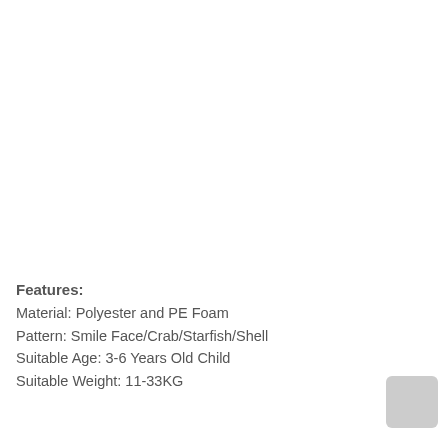Features:
Material: Polyester and PE Foam
Pattern: Smile Face/Crab/Starfish/Shell
Suitable Age: 3-6 Years Old Child
Suitable Weight: 11-33KG